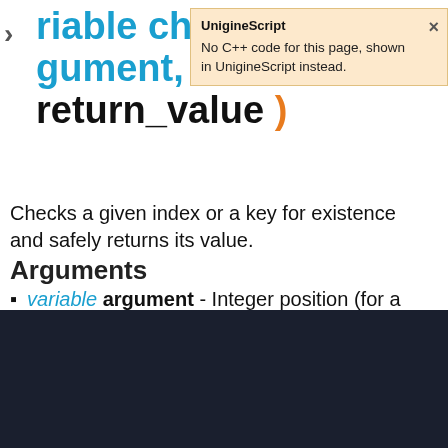variable check ( variable argument, variable return_value )
[Figure (screenshot): Tooltip popup: 'UnigineScript' header with text 'No C++ code for this page, shown in UnigineScript instead.' and a close X button. Orange/cream background.]
Checks a given index or a key for existence and safely returns its value.
Arguments
variable argument - Integer position (for a vector) or
We use cookies to ensure that we give you the best experience on our website. Click here for more information.